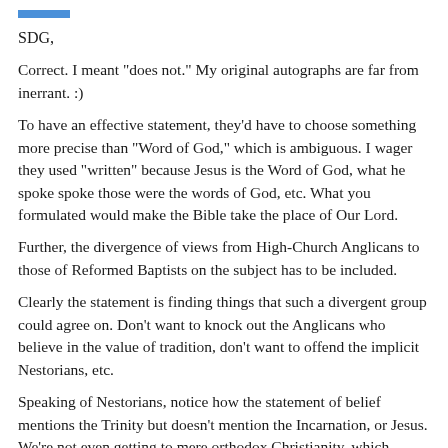SDG,
Correct. I meant "does not." My original autographs are far from inerrant. :)
To have an effective statement, they'd have to choose something more precise than "Word of God," which is ambiguous. I wager they used "written" because Jesus is the Word of God, what he spoke spoke those were the words of God, etc. What you formulated would make the Bible take the place of Our Lord.
Further, the divergence of views from High-Church Anglicans to those of Reformed Baptists on the subject has to be included.
Clearly the statement is finding things that such a divergent group could agree on. Don't want to knock out the Anglicans who believe in the value of tradition, don't want to offend the implicit Nestorians, etc.
Speaking of Nestorians, notice how the statement of belief mentions the Trinity but doesn't mention the Incarnation, or Jesus. We're not even getting to mere orthodox Christianity, which traditionally affirmed the Trinity and the Incarnation as foundational truths.